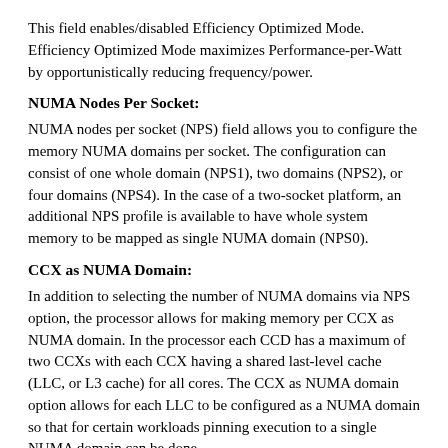This field enables/disabled Efficiency Optimized Mode. Efficiency Optimized Mode maximizes Performance-per-Watt by opportunistically reducing frequency/power.
NUMA Nodes Per Socket:
NUMA nodes per socket (NPS) field allows you to configure the memory NUMA domains per socket. The configuration can consist of one whole domain (NPS1), two domains (NPS2), or four domains (NPS4). In the case of a two-socket platform, an additional NPS profile is available to have whole system memory to be mapped as single NUMA domain (NPS0).
CCX as NUMA Domain:
In addition to selecting the number of NUMA domains via NPS option, the processor allows for making memory per CCX as NUMA domain. In the processor each CCD has a maximum of two CCXs with each CCX having a shared last-level cache (LLC, or L3 cache) for all cores. The CCX as NUMA domain option allows for each LLC to be configured as a NUMA domain so that for certain workloads pinning execution to a single NUMA domain can be done.
Adaptive Double DRAM Device Correction (ADDDC):